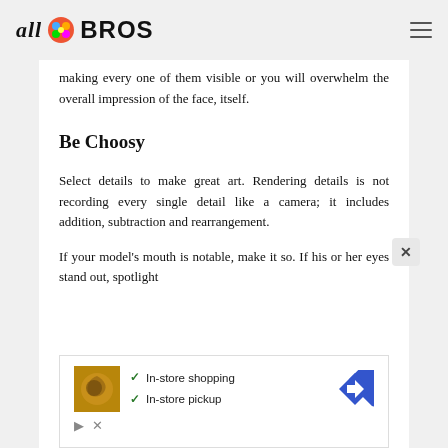all BROS
making every one of them visible or you will overwhelm the overall impression of the face, itself.
Be Choosy
Select details to make great art. Rendering details is not recording every single detail like a camera; it includes addition, subtraction and rearrangement.
If your model's mouth is notable, make it so. If his or her eyes stand out, spotlight
[Figure (infographic): Advertisement banner with a swirl/coffee image, checkmarks for In-store shopping and In-store pickup, a navigation arrow icon, and ad controls (play and close buttons).]